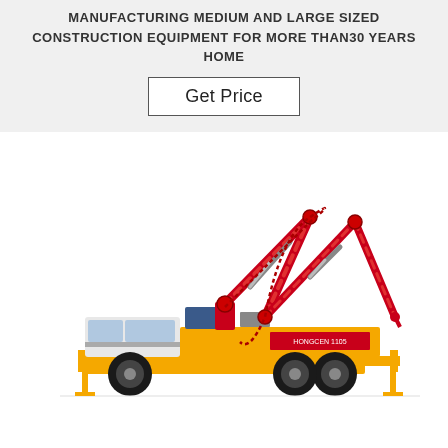MANUFACTURING MEDIUM AND LARGE SIZED CONSTRUCTION EQUIPMENT FOR MORE THAN30 YEARS HOME
Get Price
[Figure (photo): A concrete pump truck with an orange/yellow chassis and red hydraulic boom arm extended in a zigzag configuration, photographed on a white background.]